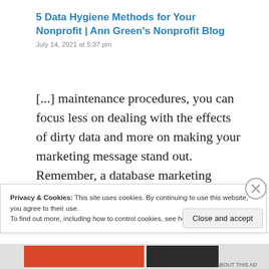5 Data Hygiene Methods for Your Nonprofit | Ann Green's Nonprofit Blog
July 14, 2021 at 5:37 pm
[...] maintenance procedures, you can focus less on dealing with the effects of dirty data and more on making your marketing message stand out. Remember, a database marketing service provider might offer the push you need to carry out the [...]
Privacy & Cookies: This site uses cookies. By continuing to use this website, you agree to their use.
To find out more, including how to control cookies, see here: Cookie Policy
Close and accept